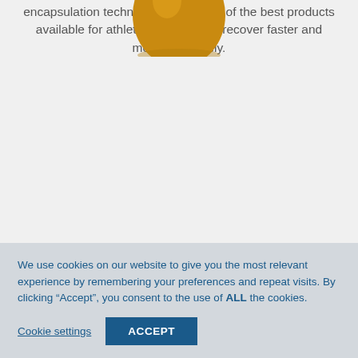encapsulation technologies, it is one of the best products available for athletes who want to recover faster and more completely.
[Figure (photo): Close-up of a small amber/orange glass bottle with a white ribbed plastic cap, containing a liquid supplement product.]
We use cookies on our website to give you the most relevant experience by remembering your preferences and repeat visits. By clicking “Accept”, you consent to the use of ALL the cookies.
Cookie settings
ACCEPT